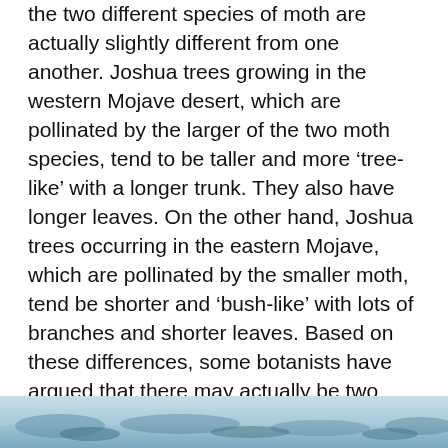the two different species of moth are actually slightly different from one another. Joshua trees growing in the western Mojave desert, which are pollinated by the larger of the two moth species, tend to be taller and more 'tree-like' with a longer trunk. They also have longer leaves. On the other hand, Joshua trees occurring in the eastern Mojave, which are pollinated by the smaller moth, tend be shorter and 'bush-like' with lots of branches and shorter leaves. Based on these differences, some botanists have argued that there may actually be two species of Joshua tree: Yucca brevifolia, occurring in the western Mojave and Yucca jaegeriana, occurring in the eastern Mojave. (Preliminary work on the Joshua tree genome suggests that the two tree types are indeed genetically different from one another, but still similar enough that genome sequence data from one species will provide a good starting place for studying the other.)
[Figure (photo): Partial bottom strip showing a landscape photograph, likely of the Mojave desert with Joshua trees, only the top portion visible at the bottom of the page.]